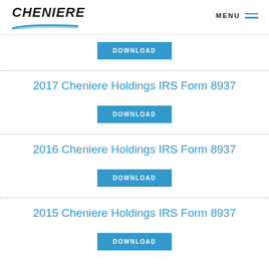CHENIERE | MENU
DOWNLOAD
2017 Cheniere Holdings IRS Form 8937
DOWNLOAD
2016 Cheniere Holdings IRS Form 8937
DOWNLOAD
2015 Cheniere Holdings IRS Form 8937
DOWNLOAD